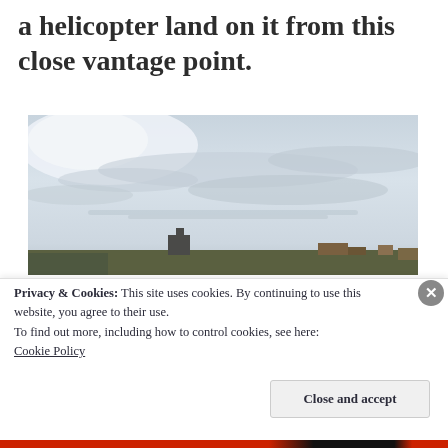a helicopter land on it from this close vantage point.
[Figure (photo): Overcast sky with grey clouds, city rooftops visible at the bottom of the frame, taken from an elevated viewpoint]
Privacy & Cookies: This site uses cookies. By continuing to use this website, you agree to their use.
To find out more, including how to control cookies, see here:
Cookie Policy
Close and accept